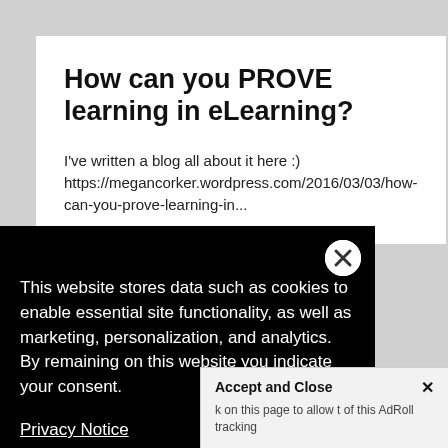How can you PROVE learning in eLearning?
I've written a blog all about it here :) https://megancorker.wordpress.com/2016/03/03/how-can-you-prove-learning-in...
This website stores data such as cookies to enable essential site functionality, as well as marketing, personalization, and analytics. By remaining on this website you indicate your consent.
Privacy Notice
Accept and Close ✕
k on this page to allow t of this AdRoll tracking
try playing this matching pairs game that I created